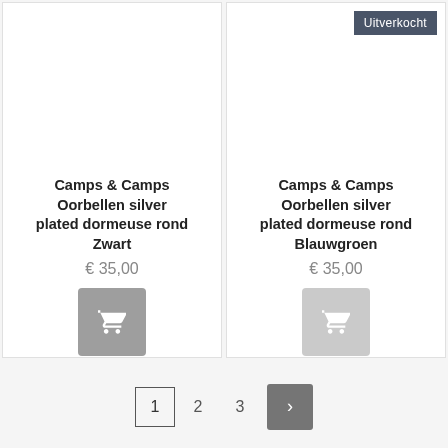[Figure (screenshot): Product card for 'Camps & Camps Oorbellen silver plated dormeuse rond Zwart' showing price €35,00 and an add-to-cart button]
Camps & Camps Oorbellen silver plated dormeuse rond Zwart
€ 35,00
Uitverkocht
[Figure (screenshot): Product card for 'Camps & Camps Oorbellen silver plated dormeuse rond Blauwgroen' showing price €35,00 and a greyed-out add-to-cart button with Uitverkocht badge]
Camps & Camps Oorbellen silver plated dormeuse rond Blauwgroen
€ 35,00
1 2 3 ›